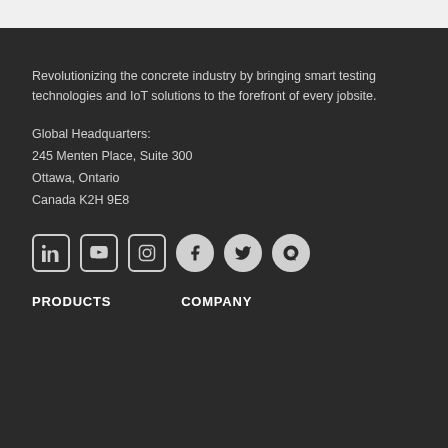Revolutionizing the concrete industry by bringing smart testing technologies and IoT solutions to the forefront of every jobsite.
Global Headquarters:
245 Menten Place, Suite 300
Ottawa, Ontario
Canada K2H 9E8
[Figure (illustration): Row of social media icons: LinkedIn, YouTube, Instagram, Facebook, Twitter, Quora]
PRODUCTS
COMPANY